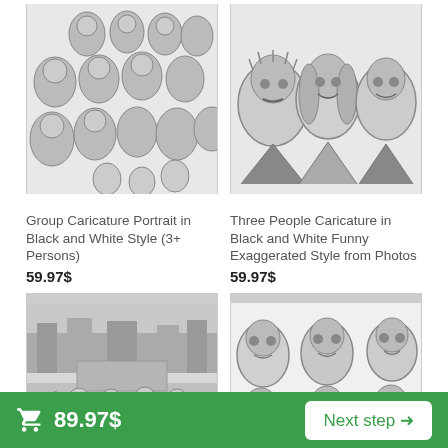[Figure (illustration): Black and white caricature drawing of a large group of people (3+ persons)]
[Figure (illustration): Black and white caricature drawing of three people with exaggerated features]
Group Caricature Portrait in Black and White Style (3+ Persons)
59.97$
Three People Caricature in Black and White Funny Exaggerated Style from Photos
59.97$
[Figure (photo): Black and white photo of a group of people celebrating outdoors]
[Figure (illustration): Black and white caricature drawing of a group of six people]
🛒 89.97$    Next step →